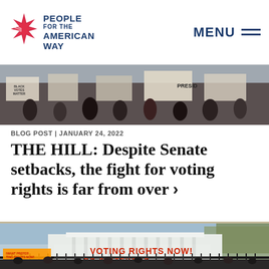People For the American Way | MENU
[Figure (photo): Protest photo showing people holding signs including signs reading 'PRESID...' at a demonstration]
BLOG POST | JANUARY 24, 2022
THE HILL: Despite Senate setbacks, the fight for voting rights is far from over >
[Figure (photo): Photo of the White House with protesters in front holding signs reading 'VOTING RIGHTS NOW!' and 'DC STATEHOOD' behind black iron fence]